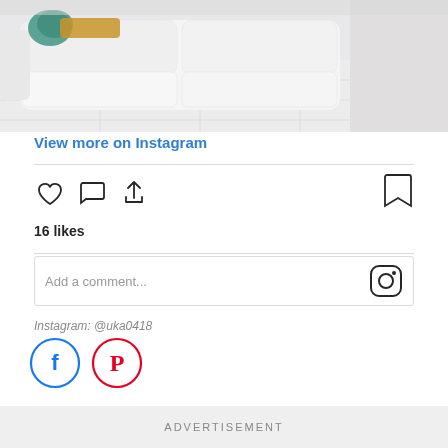[Figure (photo): White sofa with cushions and a teal/orange throw on a white marble tile floor, cropped close-up lifestyle photo]
View more on Instagram
16 likes
Add a comment...
Instagram: @uka0418
[Figure (logo): Facebook circle icon (blue outline)]
[Figure (logo): Pinterest circle icon (red outline)]
ADVERTISEMENT